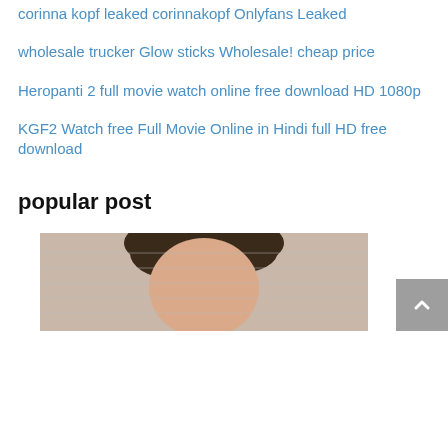corinna kopf leaked corinnakopf Onlyfans Leaked
wholesale trucker Glow sticks Wholesale! cheap price
Heropanti 2 full movie watch online free download HD 1080p
KGF2 Watch free Full Movie Online in Hindi full HD free download
popular post
[Figure (photo): Partial view of a woman's face/upper body, cropped at bottom of page]